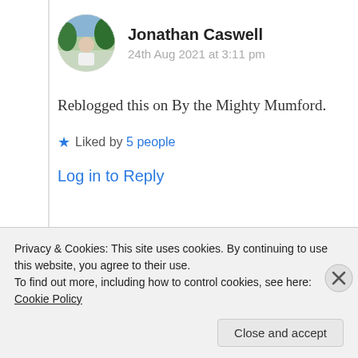Jonathan Caswell
24th Aug 2021 at 3:11 pm
Reblogged this on By the Mighty Mumford.
Liked by 5 people
Log in to Reply
[Figure (screenshot): Partially visible nested comment with avatar and partial author name]
Privacy & Cookies: This site uses cookies. By continuing to use this website, you agree to their use. To find out more, including how to control cookies, see here: Cookie Policy
Close and accept